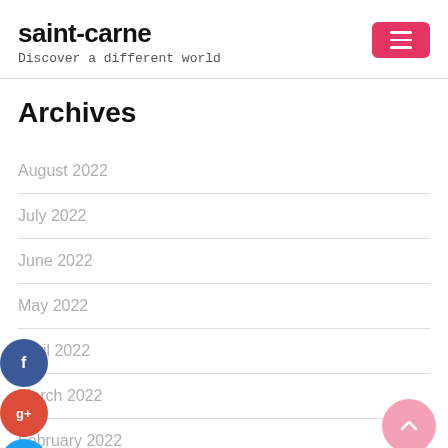saint-carne
Discover a different world
Archives
August 2022
July 2022
June 2022
May 2022
April 2022
March 2022
February 2022